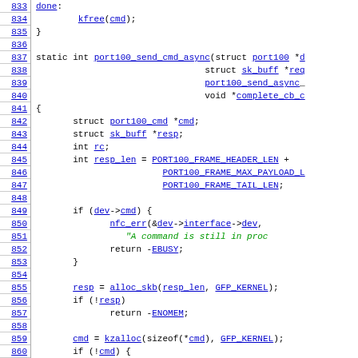[Figure (screenshot): Source code listing in monospace font with line numbers 833-862, showing C code for port100_send_cmd_async function. Line numbers in blue on left, code on right with hyperlinks in blue and string literals in green italic.]